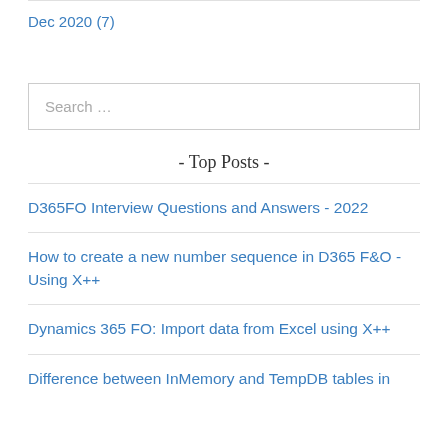Dec 2020 (7)
[Figure (other): Search input box with placeholder text 'Search ...']
- Top Posts -
D365FO Interview Questions and Answers - 2022
How to create a new number sequence in D365 F&O - Using X++
Dynamics 365 FO: Import data from Excel using X++
Difference between InMemory and TempDB tables in